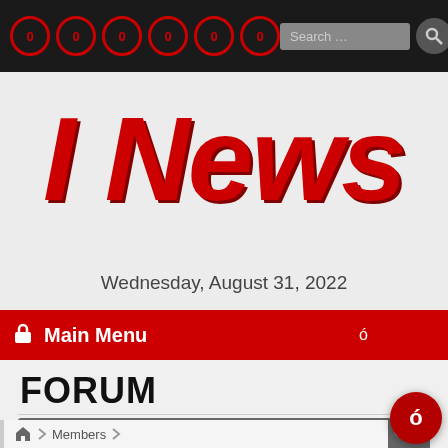Navigation bar with icons and search box
I News Agency
Wednesday, August 31, 2022
Main Menu
FORUM
[Figure (screenshot): Forum toolbar with hamburger menu icon and search icon]
Members